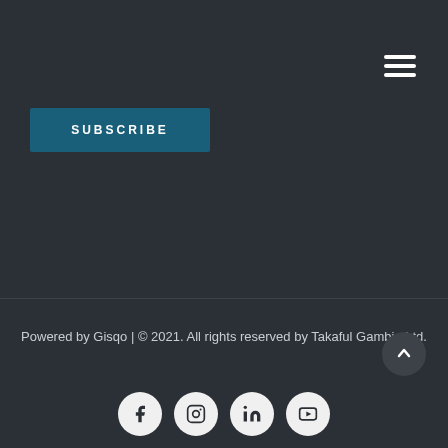[Figure (other): Hamburger menu icon (three horizontal white lines) in top right area]
SUBSCRIBE
Powered by Gisqo | © 2021. All rights reserved by Takaful Gambia Ltd.
[Figure (other): Social media icons row: Facebook, Instagram, LinkedIn, YouTube — white circles with dark icons]